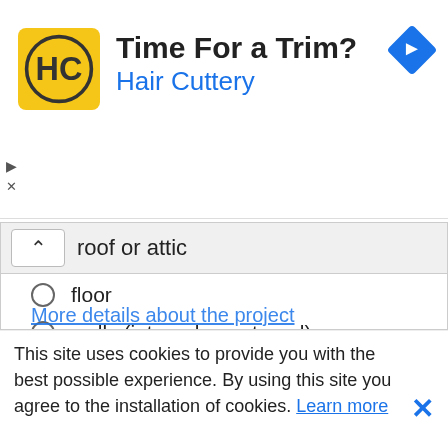[Figure (logo): Hair Cuttery advertisement banner with HC logo on yellow background, heading 'Time For a Trim?' and subheading 'Hair Cuttery' in blue, with blue diamond arrow icon]
roof or attic
floor
walls (internal or external)
basement or crawl space
ceiling
cavity wall
More details about the project
This site uses cookies to provide you with the best possible experience. By using this site you agree to the installation of cookies. Learn more